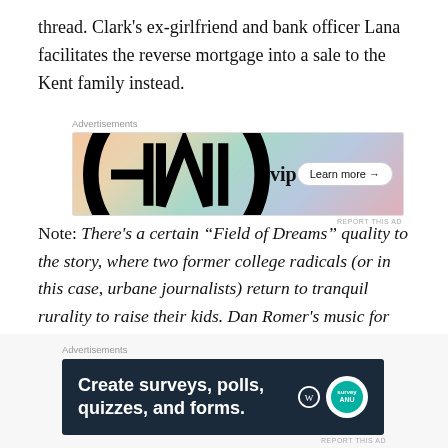thread. Clark's ex-girlfriend and bank officer Lana facilitates the reverse mortgage into a sale to the Kent family instead.
[Figure (screenshot): WP VIP advertisement banner with colorful background showing tech brand cards and a 'Learn more' button]
Note: There's a certain “Field of Dreams” quality to the story, where two former college radicals (or in this case, urbane journalists) return to tranquil rurality to raise their kids. Dan Romer’s music for the pilot also helps with establishing a mood of small town relaxation with moments of genuine tension and even awe.
[Figure (screenshot): Advertisement banner: dark navy background with text 'Create surveys, polls, quizzes, and forms.' with WordPress and SurveyMonkey-style logos]